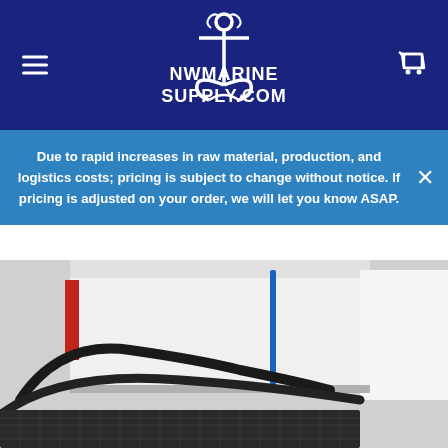NWMarineSupply.com
Due to rapid increases in raw material, production, and logistics costs; pricing is subject to change without notice. If pricing is adjusted on your order, we will let you know ASAP.
[Figure (photo): Close-up photo of a white marine cooler or equipment box mounted on a boat, with a blue strap/bungee, red accent, and black metal rail/basket in the foreground.]